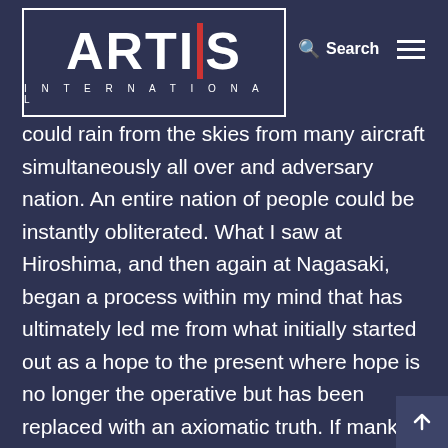[Figure (logo): ARTIS International logo — white text on dark navy background with red vertical bar between 'ARTI' and 'S', with 'INTERNATIONAL' in spaced lettering below]
🔍 Search  ☰
could rain from the skies from many aircraft simultaneously all over and adversary nation. An entire nation of people could be instantly obliterated. What I saw at Hiroshima, and then again at Nagasaki, began a process within my mind that has ultimately led me from what initially started out as a hope to the present where hope is no longer the operative but has been replaced with an axiomatic truth. If mankind is to survive, we must never again allow ourselves to use nuclear weapons.
The Nagasaki Mission three days later was a fouled